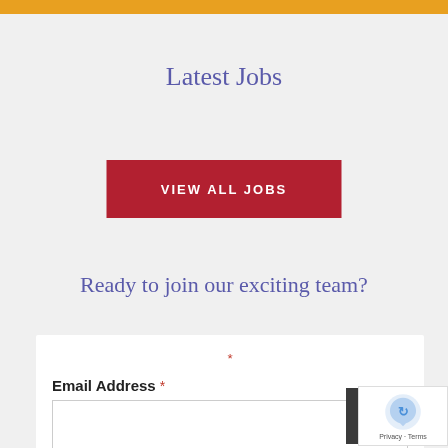Latest Jobs
[Figure (other): Red button with white uppercase text reading VIEW ALL JOBS]
Ready to join our exciting team?
Email Address *
[Figure (other): Email address input form field with required asterisk]